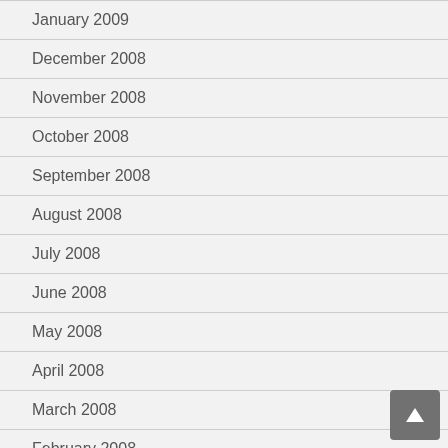January 2009
December 2008
November 2008
October 2008
September 2008
August 2008
July 2008
June 2008
May 2008
April 2008
March 2008
February 2008